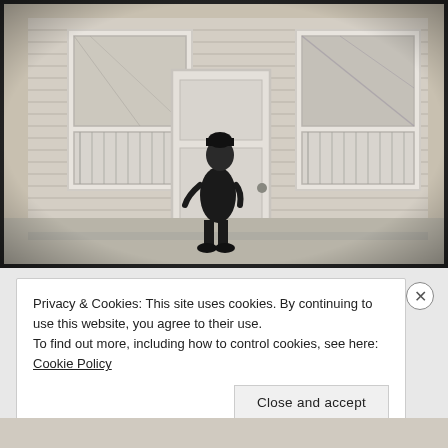[Figure (photo): Black and white photograph of a person in dark clothing and bowler hat standing in front of a wooden clapboard house with two windows and a central door with curtains]
Privacy & Cookies: This site uses cookies. By continuing to use this website, you agree to their use.
To find out more, including how to control cookies, see here: Cookie Policy
Close and accept